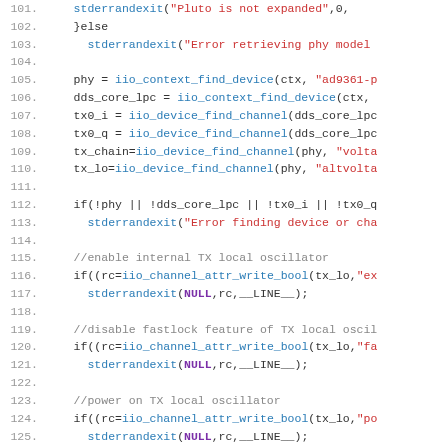[Figure (screenshot): Source code listing lines 101-128 showing C code for IIO device initialization with syntax highlighting. Line numbers in gray, function names in blue, string literals in red, keywords in dark, comments in gray, NULL in bold purple.]